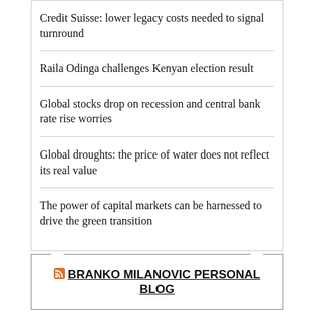Credit Suisse: lower legacy costs needed to signal turnround
Raila Odinga challenges Kenyan election result
Global stocks drop on recession and central bank rate rise worries
Global droughts: the price of water does not reflect its real value
The power of capital markets can be harnessed to drive the green transition
BRANKO MILANOVIC PERSONAL BLOG